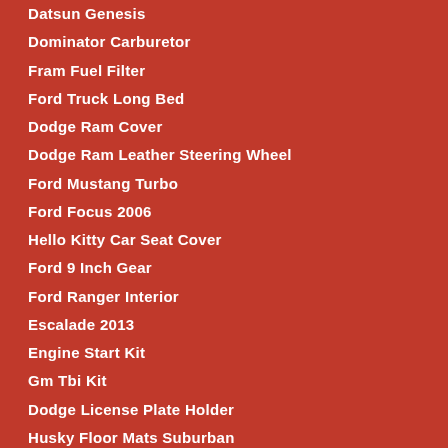Datsun Genesis
Dominator Carburetor
Fram Fuel Filter
Ford Truck Long Bed
Dodge Ram Cover
Dodge Ram Leather Steering Wheel
Ford Mustang Turbo
Ford Focus 2006
Hello Kitty Car Seat Cover
Ford 9 Inch Gear
Ford Ranger Interior
Escalade 2013
Engine Start Kit
Gm Tbi Kit
Dodge License Plate Holder
Husky Floor Mats Suburban
Hi Lift Jack Handle
Ford 460 Intake